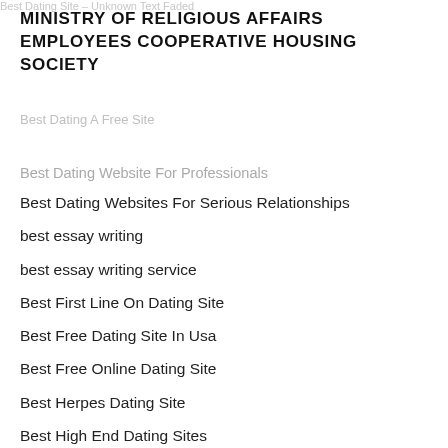Best Dating Site – Unknown Text Top
MINISTRY OF RELIGIOUS AFFAIRS EMPLOYEES COOPERATIVE HOUSING SOCIETY
Best Dating A Free Site
Best Dating Website For Professionals
Best Dating Websites For Serious Relationships
best essay writing
best essay writing service
Best First Line On Dating Site
Best Free Dating Site In Usa
Best Free Online Dating Site
Best Herpes Dating Site
Best High End Dating Sites
best hookup apps dating